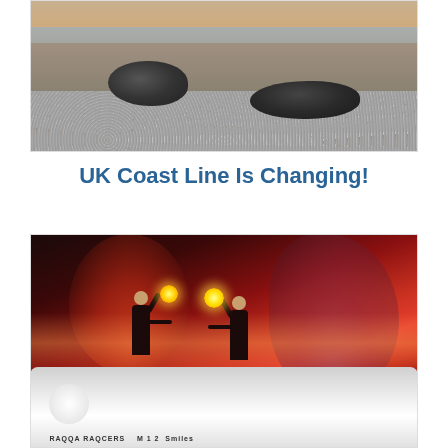[Figure (photo): Close-up photograph of a rocky beach shoreline with pebbles and large dark stones/boulders in the foreground, water visible in the background under a warm sunset sky]
UK Coast Line Is Changing!
[Figure (photo): Two shirtless people standing on a rowing boat holding flares, silhouetted against a dramatic red/orange sky filled with red smoke. The white boat hull is visible below them with text on it.]